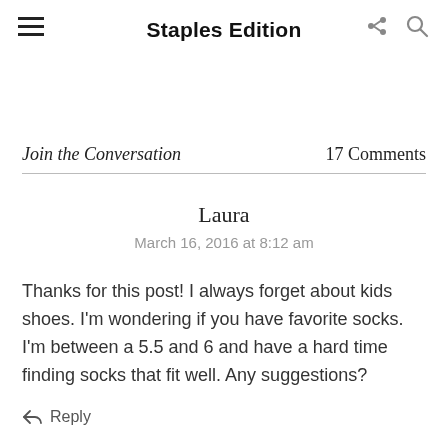Staples Edition
Join the Conversation   17 Comments
Laura
March 16, 2016 at 8:12 am
Thanks for this post! I always forget about kids shoes. I'm wondering if you have favorite socks. I'm between a 5.5 and 6 and have a hard time finding socks that fit well. Any suggestions?
Reply